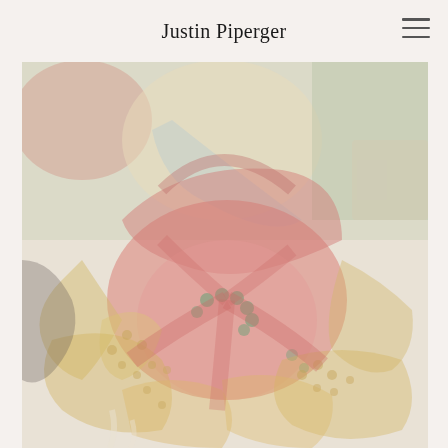Justin Piperger
[Figure (photo): A faded, washed-out painting of a large red crab with golden/yellow textured claws and body, surrounded by various objects and figures in a chaotic composition. The colors are muted pinks, reds, yellows, and greens with a very pale, bleached quality.]